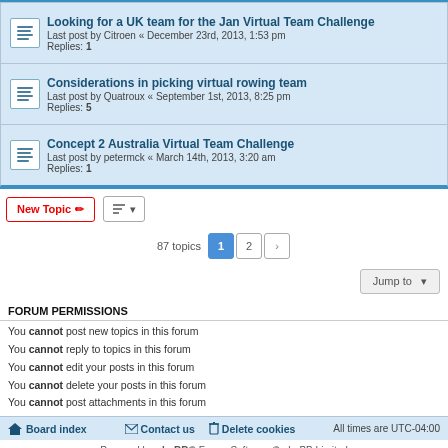Looking for a UK team for the Jan Virtual Team Challenge — Last post by Citroen « December 23rd, 2013, 1:53 pm — Replies: 1
Considerations in picking virtual rowing team — Last post by Quatroux « September 1st, 2013, 8:25 pm — Replies: 5
Concept 2 Australia Virtual Team Challenge — Last post by petermck « March 14th, 2013, 3:20 am — Replies: 1
New Topic | Sort | 87 topics | 1 | 2 | > | Jump to
FORUM PERMISSIONS
You cannot post new topics in this forum
You cannot reply to topics in this forum
You cannot edit your posts in this forum
You cannot delete your posts in this forum
You cannot post attachments in this forum
Board index | Contact us | Delete cookies | All times are UTC-04:00
Powered by phpBB® Forum Software © phpBB Limited
Privacy Policy